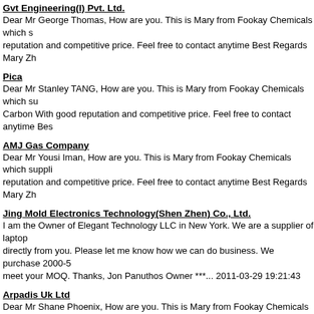Gvt Engineering(I) Pvt. Ltd.
Dear Mr George Thomas, How are you. This is Mary from Fookay Chemicals which s reputation and competitive price. Feel free to contact anytime Best Regards Mary Zh
Pica
Dear Mr Stanley TANG, How are you. This is Mary from Fookay Chemicals which su Carbon With good reputation and competitive price. Feel free to contact anytime Bes
AMJ Gas Company
Dear Mr Yousi Iman, How are you. This is Mary from Fookay Chemicals which suppli reputation and competitive price. Feel free to contact anytime Best Regards Mary Zh
Jing Mold Electronics Technology(Shen Zhen) Co., Ltd.
I am the Owner of Elegant Technology LLC in New York. We are a supplier of laptop directly from you. Please let me know how we can do business. We purchase 2000-5 meet your MOQ. Thanks, Jon Panuthos Owner ***... 2011-03-29 19:21:43
Arpadis Uk Ltd
Dear Mr Shane Phoenix, How are you. This is Mary from Fookay Chemicals which s reputation and competitive price. Feel free to contact anytime Best Regards Mary Zh
Alpen Secrets (Div. de Lab Colba Inc.)
We want to buy some products from your company, product name, model no. and sp 83-29 19:50:33